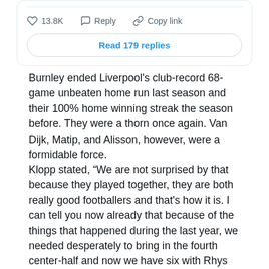[Figure (screenshot): Social media post action bar showing heart icon with 13.8K likes, reply icon with Reply label, and copy link icon with Copy link label, followed by a 'Read 179 replies' button]
Burnley ended Liverpool's club-record 68-game unbeaten home run last season and their 100% home winning streak the season before. They were a thorn once again. Van Dijk, Matip, and Alisson, however, were a formidable force.
Klopp stated, “We are not surprised by that because they played together, they are both really good footballers and that's how it is. I can tell you now already that because of the things that happened during the last year, we needed desperately to bring in the fourth center-half and now we have six with Rhys and Nat Phillips. We needed that, so they will all play; the first four will definitely play altogether.”